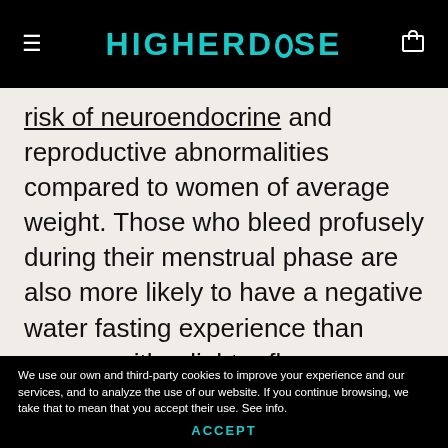HIGHERDOSE
risk of neuroendocrine and reproductive abnormalities compared to women of average weight. Those who bleed profusely during their menstrual phase are also more likely to have a negative water fasting experience than women with a lighter flow.

What's important is to pay attention and listen carefully to your body to find out when
We use our own and third-party cookies to improve your experience and our services, and to analyze the use of our website. If you continue browsing, we take that to mean that you accept their use. See info.
ACCEPT